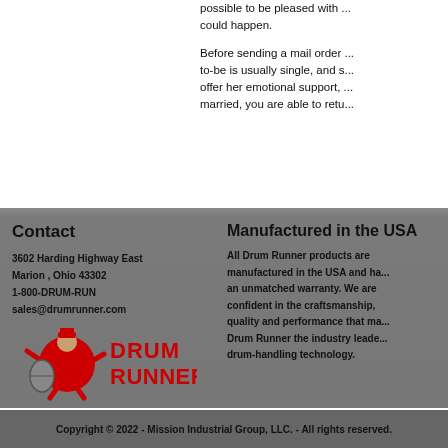possible to be pleased with … could happen.
Before sending a mail order … to-be is usually single, and s… offer her emotional support, … married, you are able to retu…
Contact
3602 Harding Highway East
Marion , Ohio 43302
1-800-DRUM-RUN
sales@drumrunner.com
[Figure (logo): Drum Runner logo with red mascot character and red text reading Drum Runner]
Manufactured in the USA
All Drum Runner products are manufactured in the USA and ha… an unmatched warranty. We are confident in the craftsmanship, quality and performance that ma… Drum Runner the industry leade… drum-handling technology.
Copyright © 2022 - Mission Industrial Group, LLC. - All rights reserved.